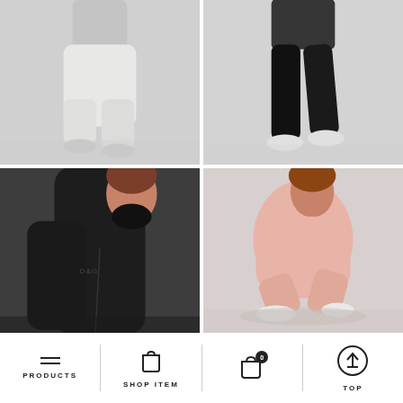[Figure (photo): Fashion photo: lower body of person wearing white jogger pants and white sneakers on grey background]
[Figure (photo): Fashion photo: lower body of person wearing black leggings and white sneakers on grey background, mid-stride]
[Figure (photo): Fashion photo: woman wearing black sweatshirt and black face mask, posing on grey background, brand logo visible]
[Figure (photo): Fashion photo: woman wearing pink/blush tracksuit, crouching pose on grey background with reflection]
PRODUCTS   SHOP ITEM   TOP